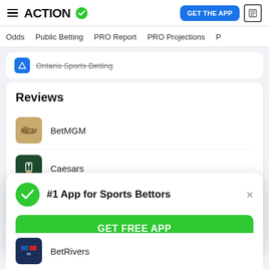ACTION — GET THE APP
Odds | Public Betting | PRO Report | PRO Projections
Ontario Sports Betting
Reviews
BetMGM
Caesars
PointsBet
#1 App for Sports Bettors
GET FREE APP
BetRivers